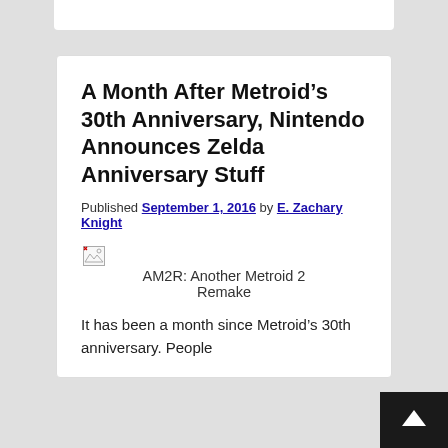A Month After Metroid’s 30th Anniversary, Nintendo Announces Zelda Anniversary Stuff
Published September 1, 2016 by E. Zachary Knight
[Figure (photo): Broken image placeholder with alt text: AM2R: Another Metroid 2 Remake]
It has been a month since Metroid’s 30th anniversary. People